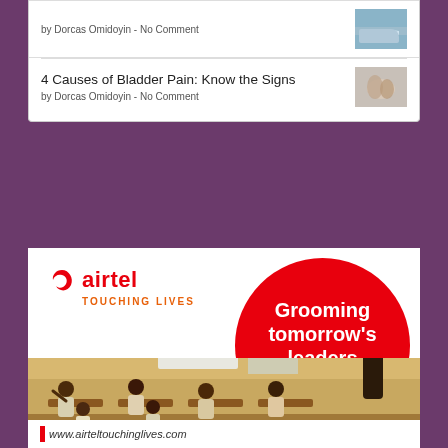by Dorcas Omidoyin - No Comment
4 Causes of Bladder Pain: Know the Signs
by Dorcas Omidoyin - No Comment
[Figure (infographic): Airtel 'Touching Lives' advertisement featuring the Airtel logo, a red circle with text 'Grooming tomorrow's leaders call or SMS 397', a classroom photo with children and a teacher, and the website www.airteltouchinglives.com]